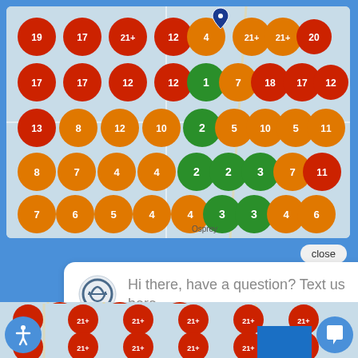[Figure (screenshot): Mobile app screenshot showing a map with colored cluster circles containing numbers (19, 17, 21+, 12, 4, 21+, 21+, 20, 16, 21+, 21+, 17, 17, 12, 12, 1, 7, 18, 17, 12, 6, 14, 13, 8, 12, 10, 2, 5, 10, 5, 11, 10, 9, 8, 7, 4, 4, 2, 2, 3, 7, 11, 7, 10, 7, 6, 5, 4, 4, 3, 3, 4, 6, 7, 8, 4, 4, 5, 3, 5, 6, 5, 6, 7, 9, 11). Red circles indicate high counts, orange medium, green low. A chat widget overlay says 'Hi there, have a question? Text us here.' Bottom section shows additional map with all 21+ red circles.]